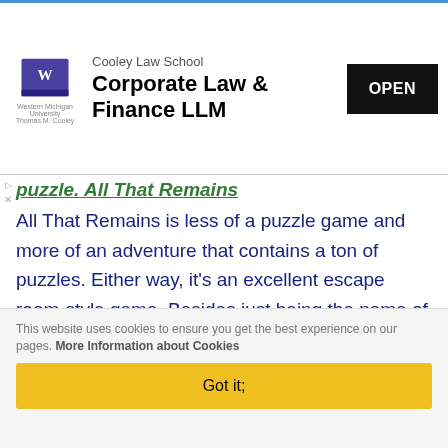[Figure (other): Advertisement banner for Cooley Law School Corporate Law & Finance LLM with university logo and OPEN button]
puzzle. All That Remains All That Remains is less of a puzzle game and more of an adventure that contains a ton of puzzles. Either way, it's an excellent escape room-style game. Besides just being the name of a pretty good metalcore band, it features an interesting premise that is high stakes and keeps you on edge the entire time. It can be stressful at points, for sure.

You wake up in a strange bunker and you must
This website uses cookies to ensure you get the best experience on our pages. More Information about Cookies
Got it;